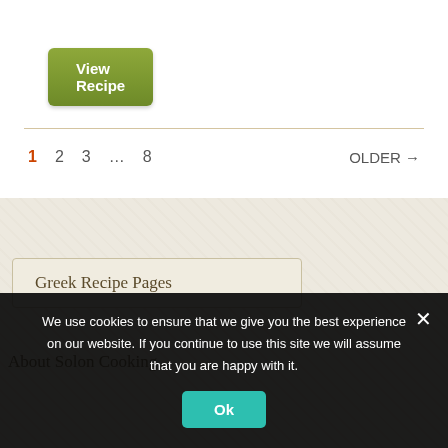View Recipe
1  2  3  ...  8  OLDER →
Greek Recipe Pages
About Solon Cooking
We use cookies to ensure that we give you the best experience on our website. If you continue to use this site we will assume that you are happy with it.
Ok